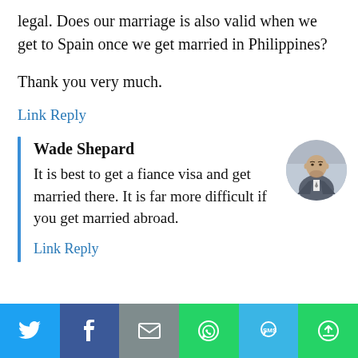legal. Does our marriage is also valid when we get to Spain once we get married in Philippines?
Thank you very much.
Link Reply
Wade Shepard
It is best to get a fiance visa and get married there. It is far more difficult if you get married abroad.
Link Reply